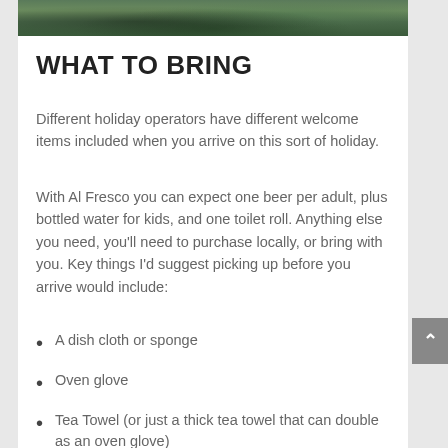[Figure (photo): Partial photo strip showing outdoor/nature scene with green foliage at top of page]
WHAT TO BRING
Different holiday operators have different welcome items included when you arrive on this sort of holiday.
With Al Fresco you can expect one beer per adult, plus bottled water for kids, and one toilet roll. Anything else you need, you'll need to purchase locally, or bring with you. Key things I'd suggest picking up before you arrive would include:
A dish cloth or sponge
Oven glove
Tea Towel (or just a thick tea towel that can double as an oven glove)
Hand towels